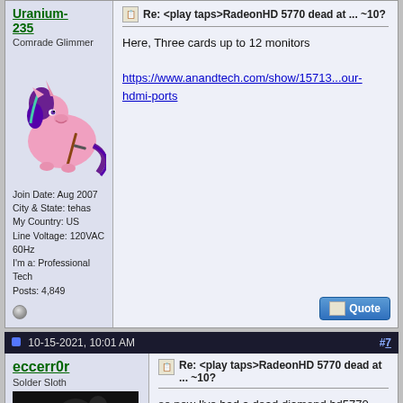Uranium-235
Comrade Glimmer
[Figure (illustration): Cartoon pony character (Starlight Glimmer) holding a rifle, pink body with purple mane]
Join Date: Aug 2007
City & State: tehas
My Country: US
Line Voltage: 120VAC 60Hz
I'm a: Professional Tech
Posts: 4,849
Re: <play taps>RadeonHD 5770 dead at ... ~10?
Here, Three cards up to 12 monitors
https://www.anandtech.com/show/15713...our-hdmi-ports
10-15-2021, 10:01 AM
#7
eccerr0r
Solder Sloth
[Figure (photo): Dark close-up photo, appears to be electronic components or similar]
Re: <play taps>RadeonHD 5770 dead at ... ~10?
so now I've had a dead diamond hd5770, sapphire